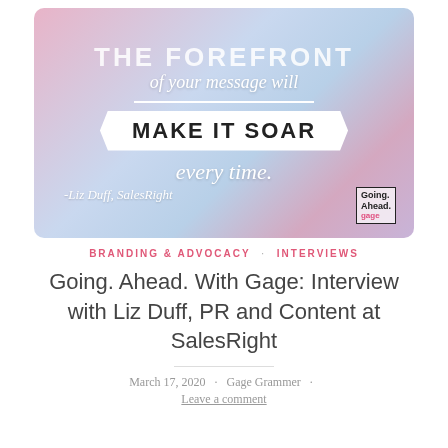[Figure (illustration): Decorative quote card with pastel pink and blue cloud/watercolor background. Text reads: 'THE FOREFRONT of your message will MAKE IT SOAR every time. -Liz Duff, SalesRight' with Going Ahead Gage logo in bottom right.]
BRANDING & ADVOCACY · INTERVIEWS
Going. Ahead. With Gage: Interview with Liz Duff, PR and Content at SalesRight
March 17, 2020 · Gage Grammer · Leave a comment